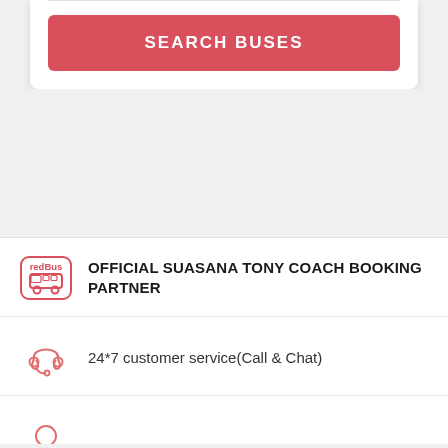[Figure (screenshot): Search Buses button - red rounded rectangle with white bold text SEARCH BUSES]
[Figure (logo): redBus logo - red rounded square with bus icon and text redBus]
OFFICIAL SUASANA TONY COACH BOOKING PARTNER
[Figure (illustration): Red headset/customer service icon]
24*7 customer service(Call & Chat)